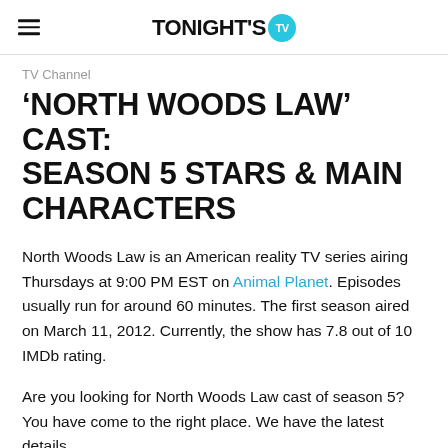TONIGHT'S TV
TV Channel
'NORTH WOODS LAW' CAST: SEASON 5 STARS & MAIN CHARACTERS
North Woods Law is an American reality TV series airing Thursdays at 9:00 PM EST on Animal Planet. Episodes usually run for around 60 minutes. The first season aired on March 11, 2012. Currently, the show has 7.8 out of 10 IMDb rating.
Are you looking for North Woods Law cast of season 5? You have come to the right place. We have the latest details